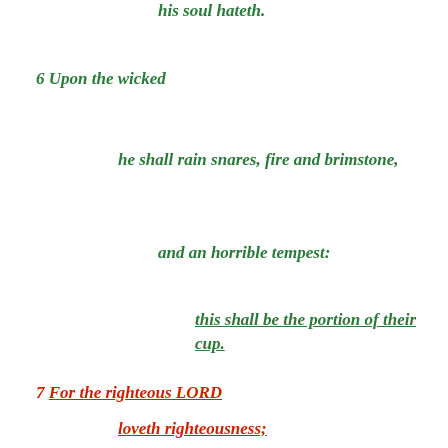his soul hateth.
6 Upon the wicked
he shall rain snares, fire and brimstone,
and an horrible tempest:
this shall be the portion of their cup.
7 For the righteous LORD
loveth righteousness;
his countenance